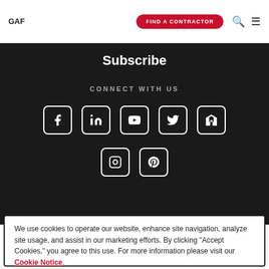GAF | FIND A CONTRACTOR
Subscribe
CONNECT WITH US
[Figure (illustration): Social media icons row 1: Facebook, LinkedIn, YouTube, Twitter, Houzz]
[Figure (illustration): Social media icons row 2: Instagram, Pinterest]
We use cookies to operate our website, enhance site navigation, analyze site usage, and assist in our marketing efforts. By clicking "Accept Cookies," you agree to this use. For more information please visit our Cookie Notice.
Cookie Preferences | Accept Cookies